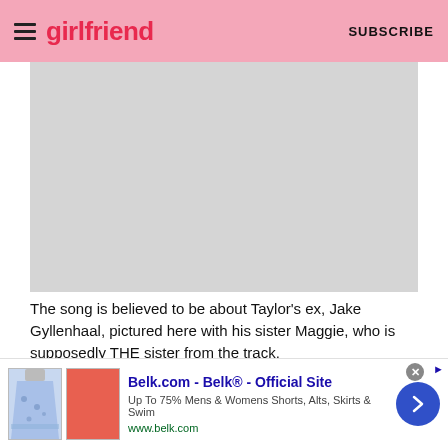girlfriend  SUBSCRIBE
[Figure (photo): Photo placeholder (light gray rectangle) showing Jake Gyllenhaal with his sister Maggie Gyllenhaal]
The song is believed to be about Taylor's ex, Jake Gyllenhaal, pictured here with his sister Maggie, who is supposedly THE sister from the track.
Getty
Jake and Taylor met and sparked a romance in 2010, which was confirmed when they were photographed together before Jake took her to meet his sister, actress Maggie Gyllenhaal. But the something went wrong and the
[Figure (screenshot): Advertisement banner: Belk.com - Belk® - Official Site. Up To 75% Mens & Womens Shorts, Alts, Skirts & Swim. www.belk.com]